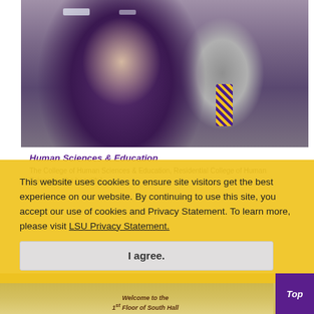[Figure (photo): LSU student in purple LSU shirt using a water/drink dispenser machine in a campus building hallway]
Human Sciences & Education
The College of Human Sciences & Education, Residential...place of Human Sciences...the beautiful
This website uses cookies to ensure site visitors get the best experience on our website. By continuing to use this site, you accept our use of cookies and Privacy Statement. To learn more, please visit LSU Privacy Statement.
I agree.
[Figure (photo): Welcome to the 1st Floor of South Hall sign with LSU colors in yellow and purple]